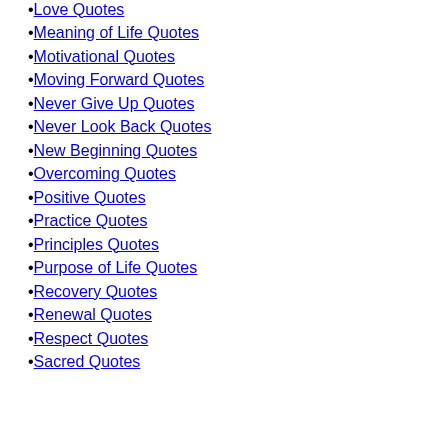Love Quotes
Meaning of Life Quotes
Motivational Quotes
Moving Forward Quotes
Never Give Up Quotes
Never Look Back Quotes
New Beginning Quotes
Overcoming Quotes
Positive Quotes
Practice Quotes
Principles Quotes
Purpose of Life Quotes
Recovery Quotes
Renewal Quotes
Respect Quotes
Sacred Quotes